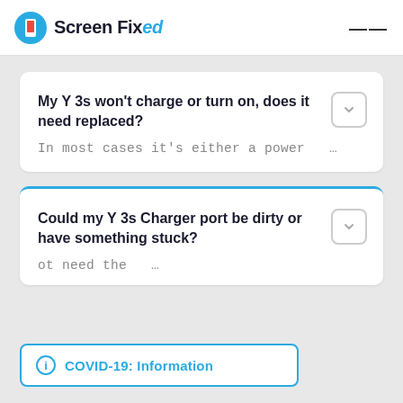[Figure (logo): Screen Fixed logo with blue circle containing a phone icon and the brand name 'Screen Fixed' where 'ed' is in italic blue]
My Y 3s won't charge or turn on, does it need replaced?
In most cases it's either a power ...
Could my Y 3s Charger port be dirty or have something stuck?
ot need the ...
COVID-19: Information